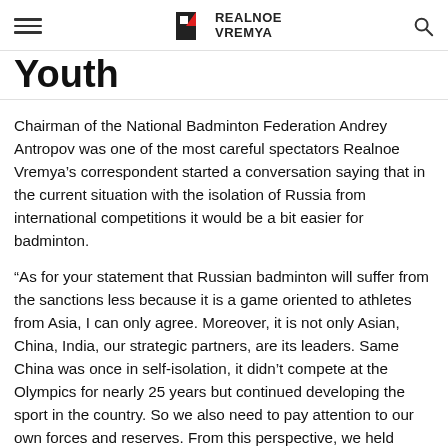Realnoe Vremya
Youth
Chairman of the National Badminton Federation Andrey Antropov was one of the most careful spectators Realnoe Vremya's correspondent started a conversation saying that in the current situation with the isolation of Russia from international competitions it would be a bit easier for badminton.
“As for your statement that Russian badminton will suffer from the sanctions less because it is a game oriented to athletes from Asia, I can only agree. Moreover, it is not only Asian, China, India, our strategic partners, are its leaders. Same China was once in self-isolation, it didn’t compete at the Olympics for nearly 25 years but continued developing the sport in the country. So we also need to pay attention to our own forces and reserves. From this perspective, we held absolutely all scheduled tournaments, also, we will organise new ones.”
By the way, here it is necessary to pay attention to the completely different quality of national tournaments, since